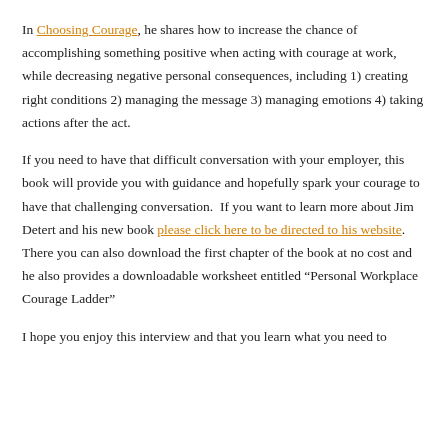In Choosing Courage, he shares how to increase the chance of accomplishing something positive when acting with courage at work, while decreasing negative personal consequences, including 1) creating right conditions 2) managing the message 3) managing emotions 4) taking actions after the act.
If you need to have that difficult conversation with your employer, this book will provide you with guidance and hopefully spark your courage to have that challenging conversation.  If you want to learn more about Jim Detert and his new book please click here to be directed to his website.  There you can also download the first chapter of the book at no cost and he also provides a downloadable worksheet entitled “Personal Workplace Courage Ladder”
I hope you enjoy this interview and that you learn what you need to